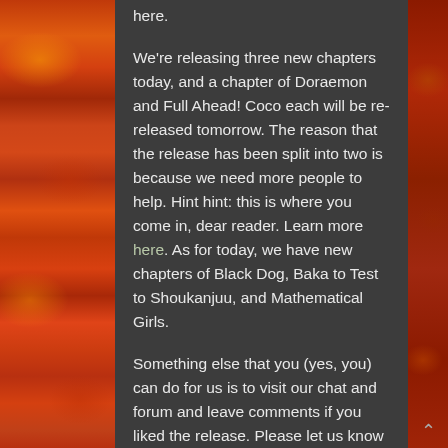here.
We're releasing three new chapters today, and a chapter of Doraemon and Full Ahead! Coco each will be re-released tomorrow. The reason that the release has been split into two is because we need more people to help. Hint hint: this is where you come in, dear reader. Learn more here. As for today, we have new chapters of Black Dog, Baka to Test to Shoukanjuu, and Mathematical Girls.
Something else that you (yes, you) can do for us is to visit our chat and forum and leave comments if you liked the release. Please let us know if there are any issues with the chapters, such as missing pages or translations and such.
Till the next time when I have enough time to do a release,
Flowersofmoe and the FoS Staff